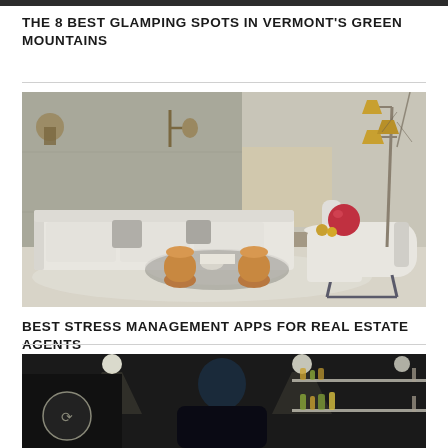THE 8 BEST GLAMPING SPOTS IN VERMONT'S GREEN MOUNTAINS
[Figure (photo): Modern living room with white sectional sofa, round glass-top coffee table with wooden pedestals, accent chair, and floor lamp with brass tones against concrete walls]
BEST STRESS MANAGEMENT APPS FOR REAL ESTATE AGENTS
[Figure (photo): Person in dark clothing viewed from behind, in a dark interior space with shelves and bottles visible in background]